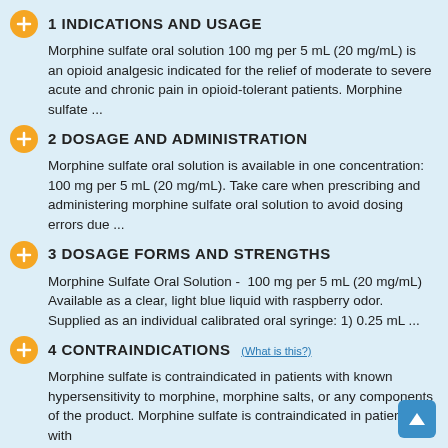1 INDICATIONS AND USAGE
Morphine sulfate oral solution 100 mg per 5 mL (20 mg/mL) is an opioid analgesic indicated for the relief of moderate to severe acute and chronic pain in opioid-tolerant patients. Morphine sulfate ...
2 DOSAGE AND ADMINISTRATION
Morphine sulfate oral solution is available in one concentration: 100 mg per 5 mL (20 mg/mL). Take care when prescribing and administering morphine sulfate oral solution to avoid dosing errors due ...
3 DOSAGE FORMS AND STRENGTHS
Morphine Sulfate Oral Solution -  100 mg per 5 mL (20 mg/mL) Available as a clear, light blue liquid with raspberry odor. Supplied as an individual calibrated oral syringe: 1) 0.25 mL ...
4 CONTRAINDICATIONS (WHAT IS THIS?)
Morphine sulfate is contraindicated in patients with known hypersensitivity to morphine, morphine salts, or any components of the product. Morphine sulfate is contraindicated in patients with